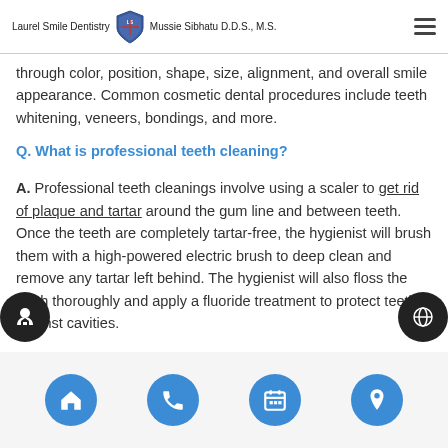Laurel Smile Dentistry [shield logo] Mussie Sibhatu D.D.S., M.S.
through color, position, shape, size, alignment, and overall smile appearance. Common cosmetic dental procedures include teeth whitening, veneers, bondings, and more.
Q. What is professional teeth cleaning?
A. Professional teeth cleanings involve using a scaler to get rid of plaque and tartar around the gum line and between teeth. Once the teeth are completely tartar-free, the hygienist will brush them with a high-powered electric brush to deep clean and remove any tartar left behind. The hygienist will also floss the teeth thoroughly and apply a fluoride treatment to protect teeth against cavities.
Navigation footer icons: home, phone, calendar, location